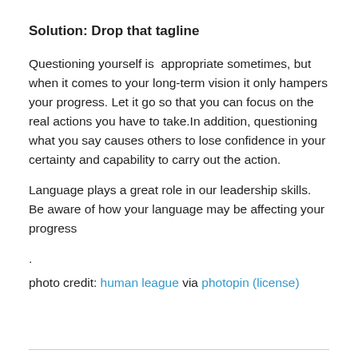Solution: Drop that tagline
Questioning yourself is  appropriate sometimes, but when it comes to your long-term vision it only hampers your progress. Let it go so that you can focus on the real actions you have to take.In addition, questioning what you say causes others to lose confidence in your certainty and capability to carry out the action.
Language plays a great role in our leadership skills. Be aware of how your language may be affecting your progress
.
photo credit: human league via photopin (license)